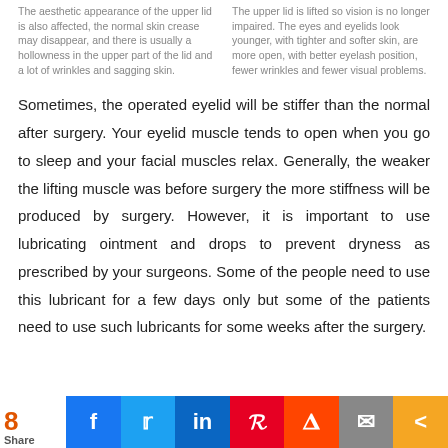The aesthetic appearance of the upper lid is also affected, the normal skin crease may disappear, and there is usually a hollowness in the upper part of the lid and a lot of wrinkles and sagging skin.
The upper lid is lifted so vision is no longer impaired. The eyes and eyelids look younger, with tighter and softer skin, are more open, with better eyelash position, fewer wrinkles and fewer visual problems.
Sometimes, the operated eyelid will be stiffer than the normal after surgery. Your eyelid muscle tends to open when you go to sleep and your facial muscles relax. Generally, the weaker the lifting muscle was before surgery the more stiffness will be produced by surgery. However, it is important to use lubricating ointment and drops to prevent dryness as prescribed by your surgeons. Some of the people need to use this lubricant for a few days only but some of the patients need to use such lubricants for some weeks after the surgery.